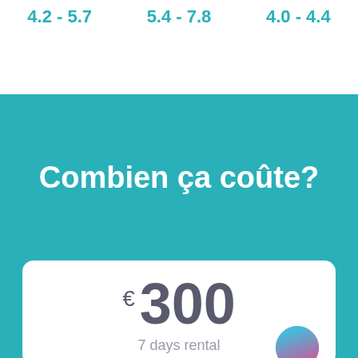4.2 - 5.7   5.4 - 7.8   4.0 - 4.4
Combien ça coûte?
€ 300
7 days rental